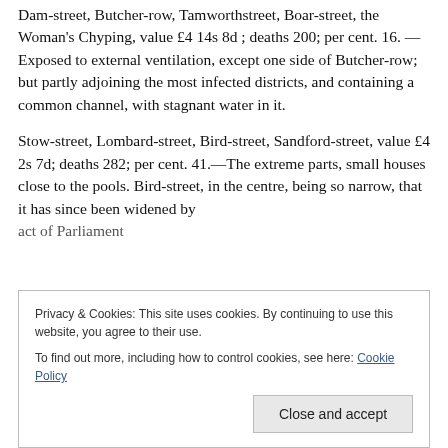Dam-street, Butcher-row, Tamworthstreet, Boar-street, the Woman's Chyping, value £4 14s 8d ; deaths 200; per cent. 16. —Exposed to external ventilation, except one side of Butcher-row; but partly adjoining the most infected districts, and containing a common channel, with stagnant water in it.
Stow-street, Lombard-street, Bird-street, Sandford-street, value £4 2s 7d; deaths 282; per cent. 41.—The extreme parts, small houses close to the pools. Bird-street, in the centre, being so narrow, that it has since been widened by act of Parliament.
Privacy & Cookies: This site uses cookies. By continuing to use this website, you agree to their use.
To find out more, including how to control cookies, see here: Cookie Policy